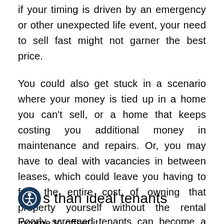if your timing is driven by an emergency or other unexpected life event, your need to sell fast might not garner the best price.
You could also get stuck in a scenario where your money is tied up in a home you can't sell, or a home that keeps costing you additional money in maintenance and repairs. Or, you may have to deal with vacancies in between leases, which could leave you having to foot the entire cost of owning that property yourself without the rental income to offset it.
s than ideal tenants
Poorly screened tenants can become a problem